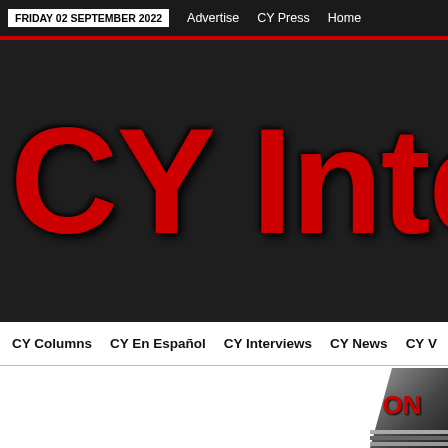FRIDAY 02 SEPTEMBER 2022   Advertise   CY Press   Home
CY Inte
CY Columns   CY En Español   CY Interviews   CY News   CY V
[Figure (photo): Partially visible microphone or award badge with 'ON' text in red on dark metallic background, bottom-right corner of page]